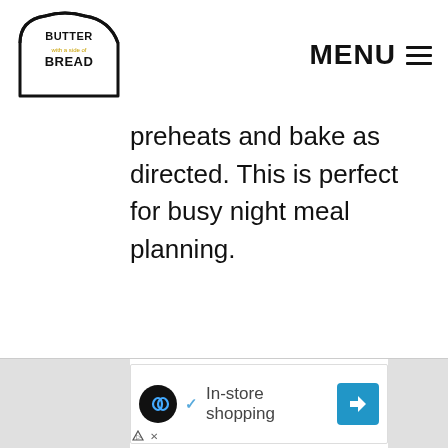[Figure (logo): Butter with a side of Bread logo — bread slice outline with text BUTTER with a side of BREAD]
MENU ☰
preheats and bake as directed. This is perfect for busy night meal planning.
[Figure (other): Advertisement banner: infinity loop icon, checkmark, In-store shopping text, blue arrow direction sign]